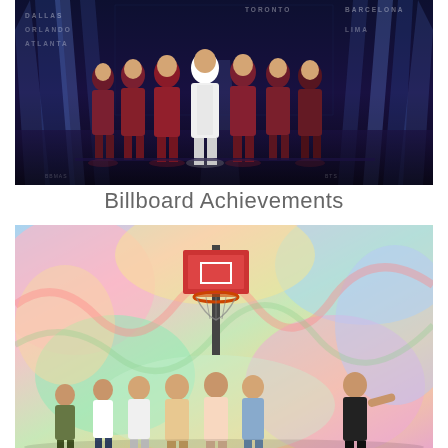[Figure (photo): Seven members of BTS standing on a stage in matching dark burgundy/wine-colored suits, with dramatic blue-white stage lighting and beams in the background. City names visible: DALLAS, TORONTO, BARCELONA, ORLANDO, and others.]
Billboard Achievements
[Figure (photo): Seven members of BTS in casual colorful outfits standing in front of a vibrant colorful abstract background with a basketball hoop. Members wearing various styles including white, pastel, and black outfits.]